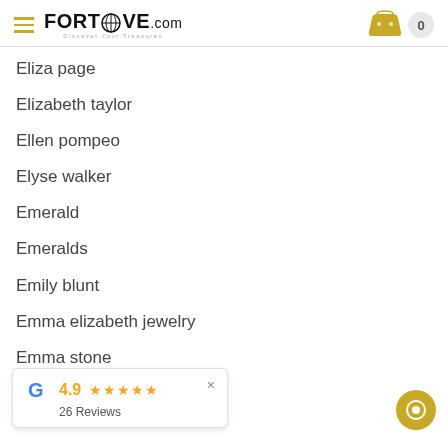FORTROVE.com
Eliza page
Elizabeth taylor
Ellen pompeo
Elyse walker
Emerald
Emeralds
Emily blunt
Emma elizabeth jewelry
Emma stone
Emmanuel tarpin
4.9 ★★★★★ × 26 Reviews